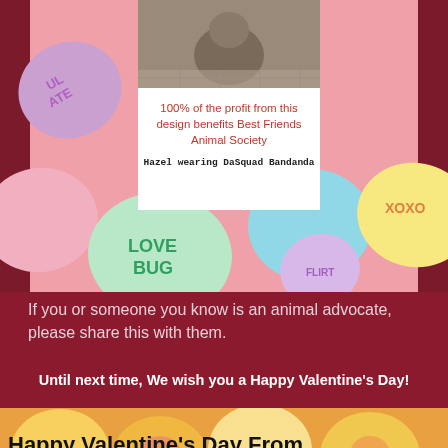[Figure (photo): Composite image: photo card overlay on candy hearts background. White card with photo of a dog (Hazel) at top, text '100% of the profit from this design benefits Best Friends Animal Society' in red/pink, and 'Hazel wearing DaSquad Bandanda' in monospace. Background shows colorful conversation candy hearts (LOVE BUG, XOXO) on pink.]
If you or someone you know is an animal advocate, please share this with them.
Until next time, We wish you a Happy Valentine's Day!
[Figure (photo): Bottom image of candy hearts cookies with text overlay 'Happy Valentine's Day From The Smart Cookie Philes!']